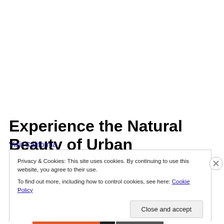Experience the Natural Beauty of Urban California
Visit California
Privacy & Cookies: This site uses cookies. By continuing to use this website, you agree to their use.
To find out more, including how to control cookies, see here: Cookie Policy
Close and accept